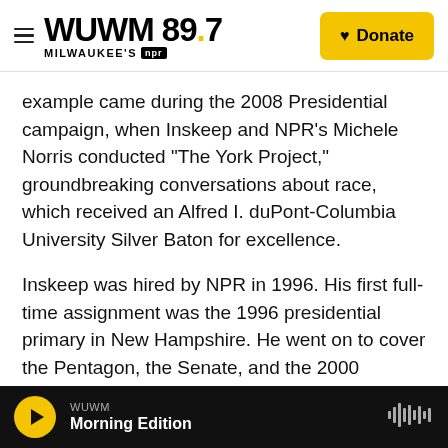WUWM 89.7 MILWAUKEE'S NPR | Donate
example came during the 2008 Presidential campaign, when Inskeep and NPR's Michele Norris conducted "The York Project," groundbreaking conversations about race, which received an Alfred I. duPont-Columbia University Silver Baton for excellence.
Inskeep was hired by NPR in 1996. His first full-time assignment was the 1996 presidential primary in New Hampshire. He went on to cover the Pentagon, the Senate, and the 2000 presidential campaign of George W. Bush. After the Sept. 11 attacks, he covered the war in Afghanistan, turmoil in Pakistan, and the war in Iraq. In 2003, he received a National Headliner Award for investigating a military raid gone wrong in Afghanistan. He has twice been part of NPR News teams awarded the
WUWM Morning Edition